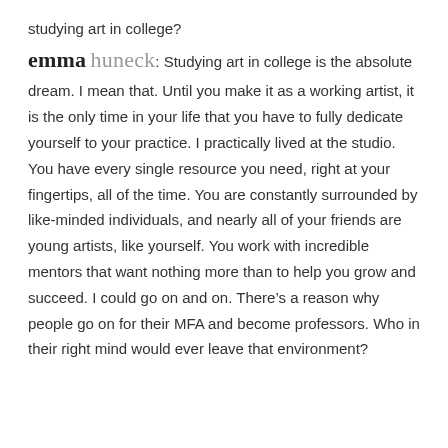studying art in college?
emma huneck: Studying art in college is the absolute dream. I mean that. Until you make it as a working artist, it is the only time in your life that you have to fully dedicate yourself to your practice. I practically lived at the studio. You have every single resource you need, right at your fingertips, all of the time. You are constantly surrounded by like-minded individuals, and nearly all of your friends are young artists, like yourself. You work with incredible mentors that want nothing more than to help you grow and succeed. I could go on and on. There’s a reason why people go on for their MFA and become professors. Who in their right mind would ever leave that environment?